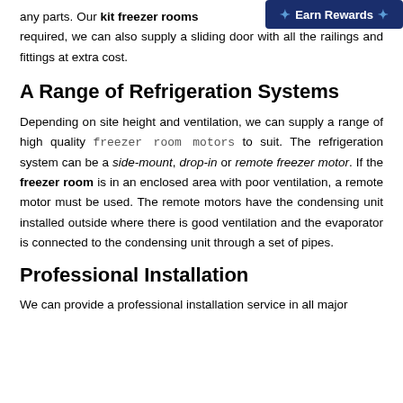any parts. Our kit freezer rooms [Earn Rewards] nged door. If required, we can also supply a sliding door with all the railings and fittings at extra cost.
A Range of Refrigeration Systems
Depending on site height and ventilation, we can supply a range of high quality freezer room motors to suit. The refrigeration system can be a side-mount, drop-in or remote freezer motor. If the freezer room is in an enclosed area with poor ventilation, a remote motor must be used. The remote motors have the condensing unit installed outside where there is good ventilation and the evaporator is connected to the condensing unit through a set of pipes.
Professional Installation
We can provide a professional installation service in all major